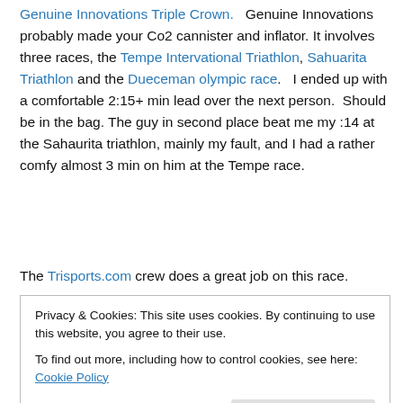Genuine Innovations Triple Crown. Genuine Innovations probably made your Co2 cannister and inflator. It involves three races, the Tempe Intervational Triathlon, Sahuarita Triathlon and the Dueceman olympic race. I ended up with a comfortable 2:15+ min lead over the next person. Should be in the bag. The guy in second place beat me my :14 at the Sahaurita triathlon, mainly my fault, and I had a rather comfy almost 3 min on him at the Tempe race.
The Trisports.com crew does a great job on this race.
Privacy & Cookies: This site uses cookies. By continuing to use this website, you agree to their use. To find out more, including how to control cookies, see here: Cookie Policy